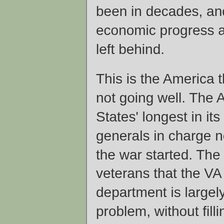been in decades, and it's highest in the rural areas that economic progress and politicians of every stripe have left behind.
This is the America that our military is defending. It is not going well. The Afghanistan War, the United States' longest in its history, has no obvious end; the generals in charge now were field grade officers when the war started. The forever war is turning out so many veterans that the VA can't keep up — and the department is largely trying to fire its way out of the problem, without filling any of its top spots or hiring for any of its nearly 50,000 job vacancies. Some American war veterans are facing deportation. ...
Let's throw a fucking military parade.